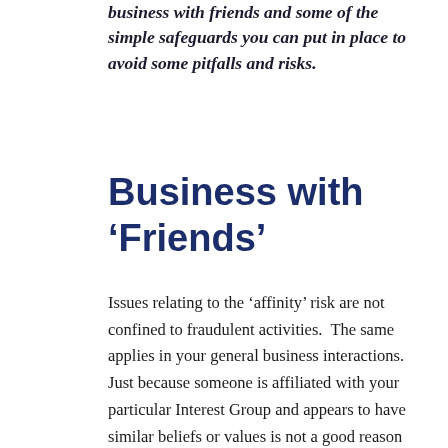business with friends and some of the simple safeguards you can put in place to avoid some pitfalls and risks.
Business with ‘Friends’
Issues relating to the ‘affinity’ risk are not confined to fraudulent activities.  The same applies in your general business interactions.  Just because someone is affiliated with your particular Interest Group and appears to have similar beliefs or values is not a good reason for getting into business with them.  I am reminded of a quote that is attributed to John